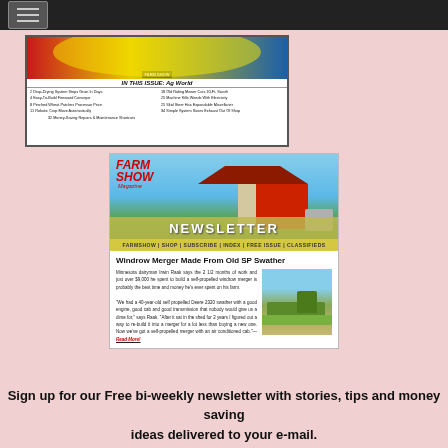[Figure (screenshot): Top navigation bar with hamburger menu icon on dark background]
[Figure (screenshot): Farm Show magazine cover showing IN THIS ISSUE: Ag World with table of contents]
[Figure (screenshot): Farm Show Magazine Newsletter banner with red barn, tractor, silo and blue sky background, with yellow navigation bar]
Windrow Merger Made From Old SP Swather
Minnesota dairyman Irwin Raak says the 2 1/2 months of work and just over $9,000 he spent to build a self-propelled windrow merger is probably the best time and money he's ever spent on his farm. "We had a 40-year-old self propelled Deere 2320 swather with a good engine, good cab and good transmission that nobody would give us a dime for," says Raak. "After it sat in the shed for 2 years I figured out a way to re-build it into a merger for a lot less than buying a new one. Now we've got a self-propelled merger with an air conditioned cab."—Read More!
Sign up for our Free bi-weekly newsletter with stories, tips and money saving ideas delivered to your e-mail.